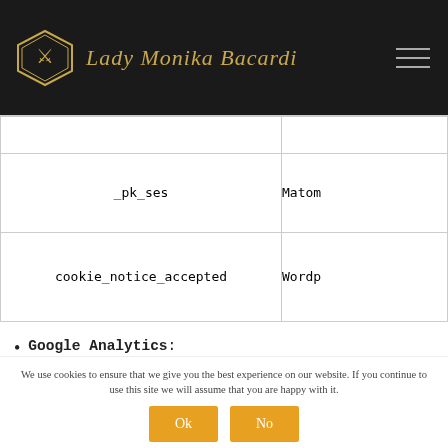Lady Monika Bacardi
| Cookie Name | Provider |
| --- | --- |
|  |  |
| _pk_ses | Matom... |
| cookie_notice_accepted | Wordpr... |
Google Analytics: https://policies.google.com/technologies/cookies?hl=it&gl=it
Matomo: https://matomo.org/privacy-policy/
We use cookies to ensure that we give you the best experience on our website. If you continue to use this site we will assume that you are happy with it.